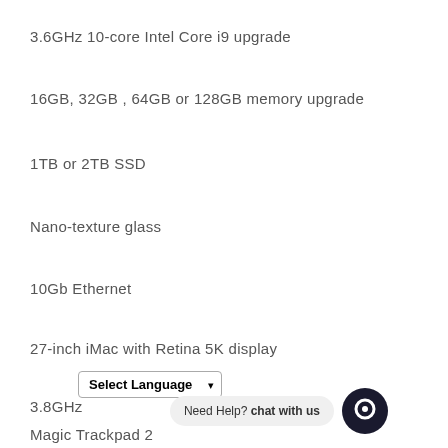3.6GHz 10-core Intel Core i9 upgrade
16GB, 32GB , 64GB or 128GB memory upgrade
1TB or 2TB SSD
Nano-texture glass
10Gb Ethernet
27-inch iMac with Retina 5K display
3.8GHz
Magic Trackpad 2